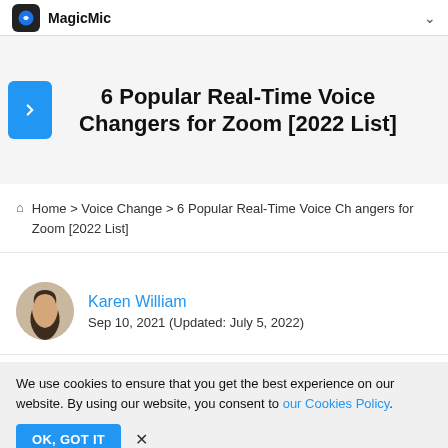MagicMic
6 Popular Real-Time Voice Changers for Zoom [2022 List]
Home > Voice Change > 6 Popular Real-Time Voice Changers for Zoom [2022 List]
Karen William
Sep 10, 2021 (Updated: July 5, 2022)
We use cookies to ensure that you get the best experience on our website. By using our website, you consent to our Cookies Policy.